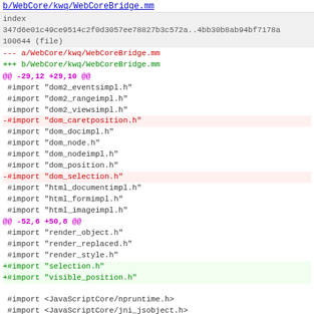b/WebCore/kwq/WebCoreBridge.mm
index
347d6e01c49ce9514c2f0d3057ee78827b3c572a..4bb30b8ab94bf7178a
100644 (file)
--- a/WebCore/kwq/WebCoreBridge.mm
+++ b/WebCore/kwq/WebCoreBridge.mm
@@ -29,12 +29,10 @@
#import "dom2_eventsimpl.h"
 #import "dom2_rangeimpl.h"
 #import "dom2_viewsimpl.h"
-#import "dom_caretposition.h"
 #import "dom_docimpl.h"
 #import "dom_node.h"
 #import "dom_nodeimpl.h"
 #import "dom_position.h"
-#import "dom_selection.h"
 #import "html_documentimpl.h"
 #import "html_formimpl.h"
 #import "html_imageimpl.h"
@@ -52,6 +50,8 @@
#import "render_object.h"
 #import "render_replaced.h"
 #import "render_style.h"
+#import "selection.h"
+#import "visible_position.h"

 #import <JavaScriptCore/npruntime.h>
 #import <JavaScriptCore/jni_jsobject.h>
Mirror of the WebKit open source project from svn.webkit.org.